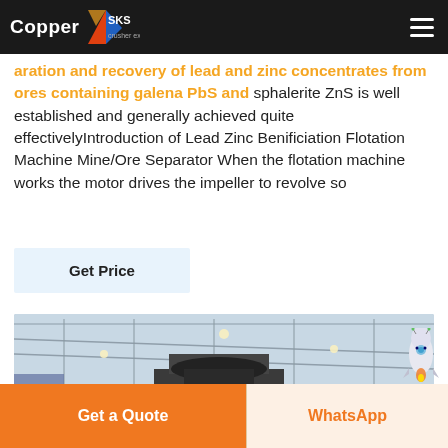Copper — SKS crusher expert
aration and recovery of lead and zinc concentrates from ores containing galena PbS and sphalerite ZnS is well established and generally achieved quite effectivelyIntroduction of Lead Zinc Benificiation Flotation Machine Mine/Ore Separator When the flotation machine works the motor drives the impeller to revolve so
Get Price
[Figure (photo): Industrial interior of a large factory or warehouse with steel frame roof structure, showing heavy machinery/crusher equipment on a metal platform in the center]
Get a Quote
WhatsApp